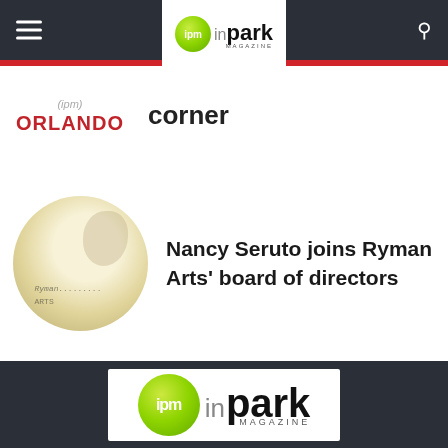ipm inpark MAGAZINE
[Figure (logo): IPM InPark Magazine logo with green circle and hamburger menu and search icon in dark nav bar]
corner
[Figure (photo): Circular thumbnail showing Ryman Arts logo on light yellow background]
Nancy Seruto joins Ryman Arts' board of directors
[Figure (logo): IPM InPark Magazine large footer logo on white background within dark footer bar]